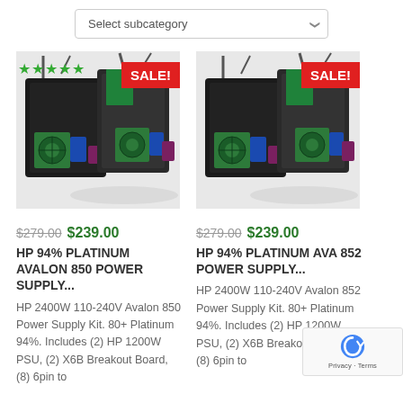Select subcategory
[Figure (photo): HP power supply units shown from back angle, with green stars rating and red SALE! badge (left product card)]
[Figure (photo): HP power supply units shown from back angle, with red SALE! badge (right product card)]
$279.00 $239.00
HP 94% PLATINUM AVALON 850 POWER SUPPLY...
HP 2400W 110-240V Avalon 850 Power Supply Kit. 80+ Platinum 94%. Includes (2) HP 1200W PSU, (2) X6B Breakout Board, (8) 6pin to
$279.00 $239.00
HP 94% PLATINUM AVA 852 POWER SUPPLY...
HP 2400W 110-240V Avalon 852 Power Supply Kit. 80+ Platinum 94%. Includes (2) HP 1200W PSU, (2) X6B Breakout Board, (8) 6pin to